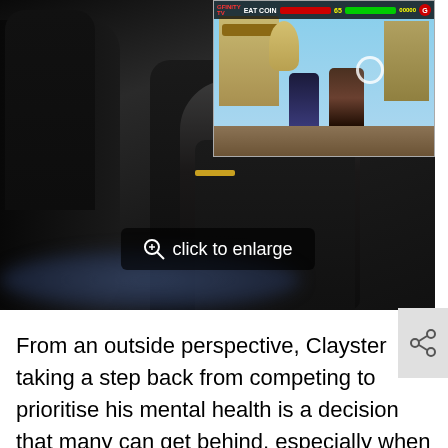[Figure (photo): A composite image showing an esports player/gamer seated in a gaming chair with headset and microphone, with a Mortal Kombat style fighting game screenshot overlaid in the top-right corner. A 'click to enlarge' button is overlaid at the bottom of the image.]
From an outside perspective, Clayster taking a step back from competing to prioritise his mental health is a decision that many can get behind, especially when competing at the highest level